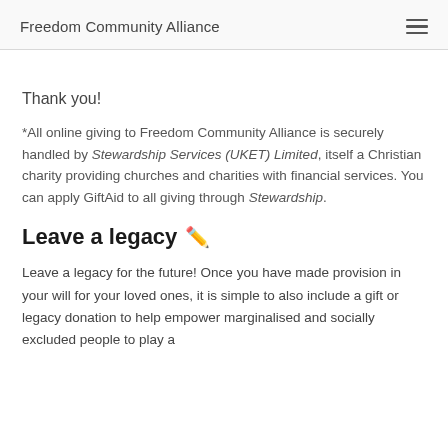Freedom Community Alliance
Thank you!
*All online giving to Freedom Community Alliance is securely handled by Stewardship Services (UKET) Limited, itself a Christian charity providing churches and charities with financial services. You can apply GiftAid to all giving through Stewardship.
Leave a legacy
Leave a legacy for the future! Once you have made provision in your will for your loved ones, it is simple to also include a gift or legacy donation to help empower marginalised and socially excluded people to play a